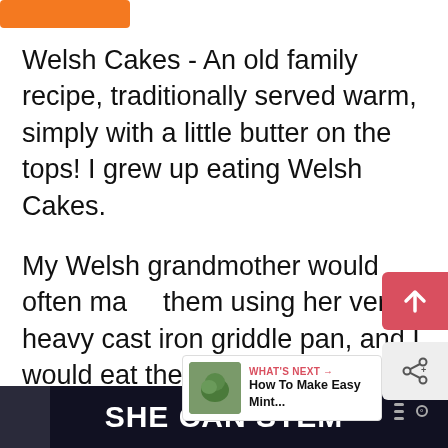[Figure (other): Orange rectangular button/bar at top left]
Welsh Cakes - An old family recipe, traditionally served warm, simply with a little butter on the tops! I grew up eating Welsh Cakes.
My Welsh grandmother would often make them using her very heavy cast iron griddle pan, and I would eat them as fast as she could make them, spreading some lovely Welsh butter on the top and enjoying them.
[Figure (other): Red scroll-up arrow button on right side]
[Figure (other): Share icon button on right side]
[Figure (other): What's Next panel with thumbnail and text: How To Make Easy Mint...]
SHE CAN STEM